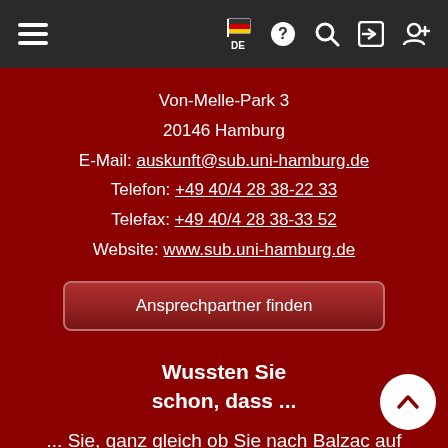Navigation bar with hamburger menu, flag DE, help, search, login, and add user icons
Von-Melle-Park 3
20146 Hamburg
E-Mail: auskunft@sub.uni-hamburg.de
Telefon: +49 40/4 28 38-22 33
Telefax: +49 40/4 28 38-33 52
Website: www.sub.uni-hamburg.de
Ansprechpartner finden
Wussten Sie schon, dass ...
... Sie, ganz gleich ob Sie nach Balzac auf Französisch, nach Dostoiewski auf Russisch,